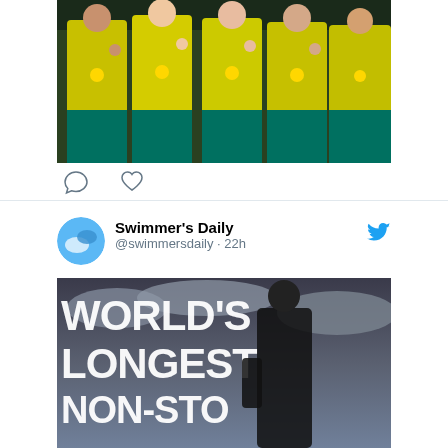[Figure (photo): Partial view of Australian swimmers in yellow jackets with gold medals, making hand gestures]
[Figure (screenshot): Twitter/social media icons: comment bubble and heart (like) icons]
Swimmer's Daily @swimmersdaily · 22h
The World's Longest Non-Stop Lake Swim? | Ross Edgley Vlogs youtube.com/watch?v=HwmAhm… swimmersdaily.com/2022/09/the-wo…
[Figure (photo): Promotional image for World's Longest Non-Stop lake swim video, showing muscular man in black outfit against dramatic cloudy sky with bold text WORLD'S LONGEST NON-STOP]